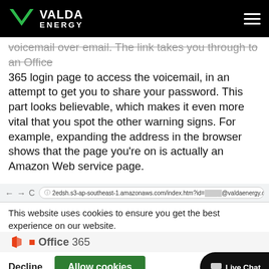VALDA ENERGY
voicemail over email. The link takes you through to an Office 365 login page to access the voicemail, in an attempt to get you to share your password. This part looks believable, which makes it even more vital that you spot the other warning signs. For example, expanding the address in the browser shows that the page you're on is actually an Amazon Web service page.
[Figure (screenshot): Browser screenshot showing address bar with URL '2edsh.s3-ap-southeast-1.amazonaws.com/index.htm?id=****@valdaenergy.com', a cookie consent overlay with 'This website uses cookies to ensure you get the best experience on our website.', Office 365 logo, Decline and Allow cookies buttons, Microsoft logo row, audio player row, and Live Chat button.]